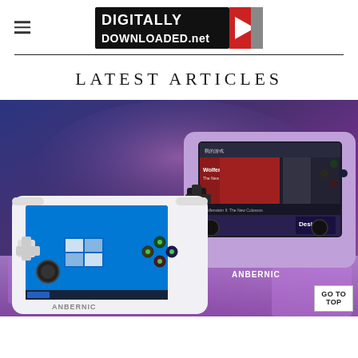DIGITALLY DOWNLOADED.net
LATEST ARTICLES
[Figure (photo): Two ANBERNIC handheld gaming devices shown against a purple/blue cloudy background. The white device on the left shows a Windows desktop screen. The purple/lavender device on the right shows a game library interface with Wolfenstein II visible. Both devices show the ANBERNIC brand name.]